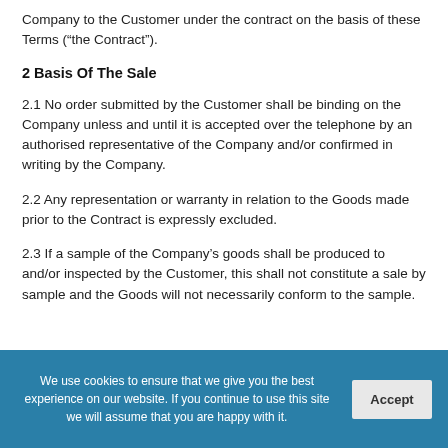Company to the Customer under the contract on the basis of these Terms (“the Contract”).
2 Basis Of The Sale
2.1 No order submitted by the Customer shall be binding on the Company unless and until it is accepted over the telephone by an authorised representative of the Company and/or confirmed in writing by the Company.
2.2 Any representation or warranty in relation to the Goods made prior to the Contract is expressly excluded.
2.3 If a sample of the Company’s goods shall be produced to and/or inspected by the Customer, this shall not constitute a sale by sample and the Goods will not necessarily conform to the sample.
We use cookies to ensure that we give you the best experience on our website. If you continue to use this site we will assume that you are happy with it.